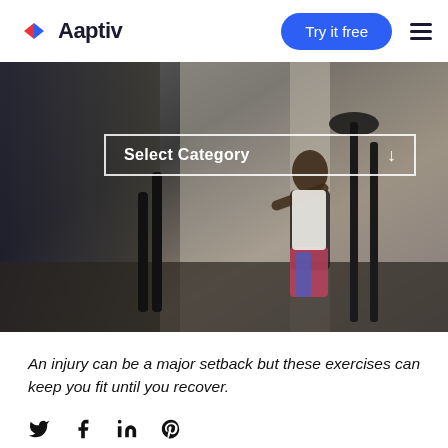[Figure (logo): Aaptiv logo with red and blue chevron arrows and wordmark]
[Figure (photo): A woman in a white sports bra and colorful leggings working out on a stair machine in a gym with mirrors and weight equipment]
Select Category
An injury can be a major setback but these exercises can keep you fit until you recover.
[Figure (other): Social media icons: Twitter, Facebook, LinkedIn, Pinterest]